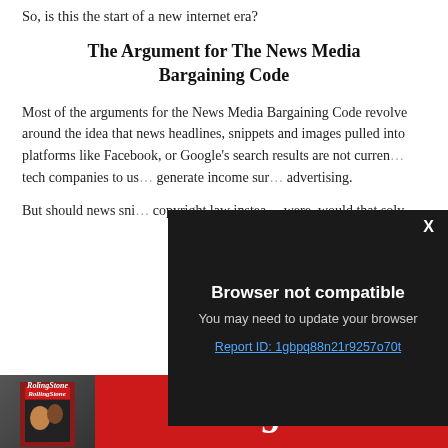So, is this the start of a new internet era?
The Argument for The News Media Bargaining Code
Most of the arguments for the News Media Bargaining Code revolve around the idea that news headlines, snippets and images pulled into platforms like Facebook, or Google's search results are not curren… tech companies to us… generate income sur… advertising.
But should news sni… copyright law instea… were, would that solv…
[Figure (screenshot): Browser not compatible modal overlay on dark background with close button X, text 'Browser not compatible', 'You may need to update your browser', and link 'Report ID: 1gbpq88n21r9257o70t']
[Figure (logo): Rolling Stone magazine advertisement banner with red background, magazine cover image on left, and Rolling Stone logo text on right]